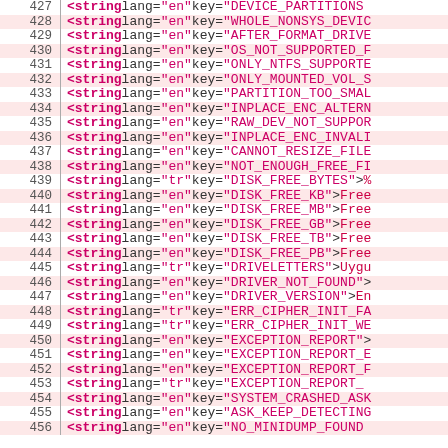Source code listing lines 427-456 showing XML string elements with lang and key attributes
427   <string lang="en" key="DEVICE_PARTITIONS...
428   <string lang="en" key="WHOLE_NONSYS_DEVIC...
429   <string lang="en" key="AFTER_FORMAT_DRIVE...
430   <string lang="en" key="OS_NOT_SUPPORTED_F...
431   <string lang="en" key="ONLY_NTFS_SUPPORTE...
432   <string lang="en" key="ONLY_MOUNTED_VOL_S...
433   <string lang="en" key="PARTITION_TOO_SMAL...
434   <string lang="en" key="INPLACE_ENC_ALTERN...
435   <string lang="en" key="RAW_DEV_NOT_SUPPOR...
436   <string lang="en" key="INPLACE_ENC_INVALI...
437   <string lang="en" key="CANNOT_RESIZE_FILE...
438   <string lang="en" key="NOT_ENOUGH_FREE_FI...
439   <string lang="tr" key="DISK_FREE_BYTES">%...
440   <string lang="en" key="DISK_FREE_KB">Free...
441   <string lang="en" key="DISK_FREE_MB">Free...
442   <string lang="en" key="DISK_FREE_GB">Free...
443   <string lang="en" key="DISK_FREE_TB">Free...
444   <string lang="en" key="DISK_FREE_PB">Free...
445   <string lang="tr" key="DRIVELETTERS">Uygu...
446   <string lang="en" key="DRIVER_NOT_FOUND">...
447   <string lang="en" key="DRIVER_VERSION">En...
448   <string lang="tr" key="ERR_CIPHER_INIT_FA...
449   <string lang="tr" key="ERR_CIPHER_INIT_WE...
450   <string lang="en" key="EXCEPTION_REPORT">...
451   <string lang="en" key="EXCEPTION_REPORT_E...
452   <string lang="en" key="EXCEPTION_REPORT_F...
453   <string lang="tr" key="EXCEPTION_REPORT_...
454   <string lang="en" key="SYSTEM_CRASHED_ASK...
455   <string lang="en" key="ASK_KEEP_DETECTING...
456   <string lang="en" key="NO_MINIDUMP_FOUND...